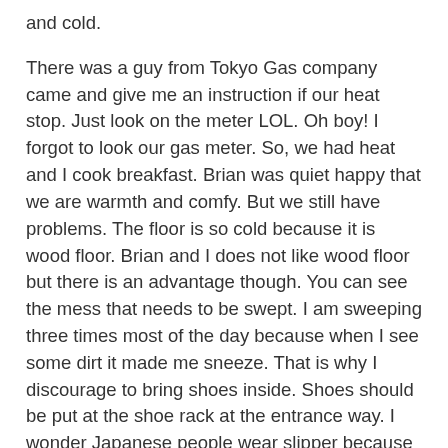and cold.
There was a guy from Tokyo Gas company came and give me an instruction if our heat stop. Just look on the meter LOL. Oh boy! I forgot to look our gas meter. So, we had heat and I cook breakfast. Brian was quiet happy that we are warmth and comfy. But we still have problems. The floor is so cold because it is wood floor. Brian and I does not like wood floor but there is an advantage though. You can see the mess that needs to be swept. I am sweeping three times most of the day because when I see some dirt it made me sneeze. That is why I discourage to bring shoes inside. Shoes should be put at the shoe rack at the entrance way. I wonder Japanese people wear slipper because they love wood floors. They spend thousands of dollars and maybe millions of yens in having wood flooor. It is their custom. We never encounter a house that has carpet but a friend of ours Rene and Phil told us that there was when they did their house hunting. They said the carpet was in the old side and it needs to be replaced.
So what I did today? I arrange the DVDs and books and put